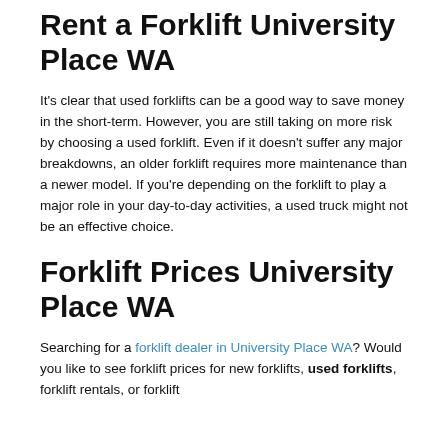Rent a Forklift University Place WA
It's clear that used forklifts can be a good way to save money in the short-term. However, you are still taking on more risk by choosing a used forklift. Even if it doesn't suffer any major breakdowns, an older forklift requires more maintenance than a newer model. If you're depending on the forklift to play a major role in your day-to-day activities, a used truck might not be an effective choice.
Forklift Prices University Place WA
Searching for a forklift dealer in University Place WA? Would you like to see forklift prices for new forklifts, used forklifts, forklift rentals, or forklift